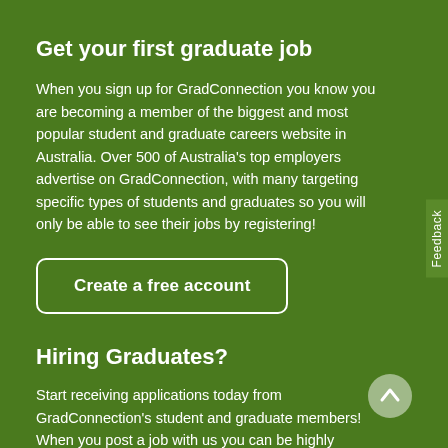Get your first graduate job
When you sign up for GradConnection you know you are becoming a member of the biggest and most popular student and graduate careers website in Australia. Over 500 of Australia's top employers advertise on GradConnection, with many targeting specific types of students and graduates so you will only be able to see their jobs by registering!
Create a free account
Hiring Graduates?
Start receiving applications today from GradConnection's student and graduate members! When you post a job with us you can be highly targeted to key disciplines, universities and many other characteristics to make sure your job reaches the right members. Your job will not only appear on our website, it will also be sent to relevant member